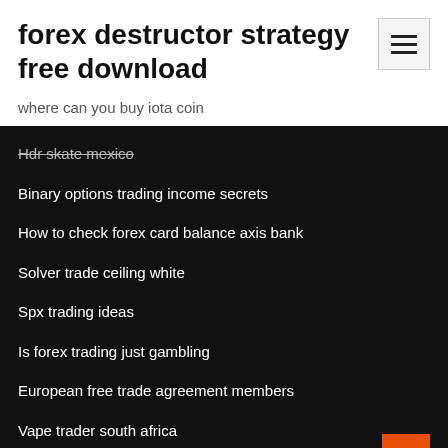forex destructor strategy free download
where can you buy iota coin
Hdr skate mexico
Binary options trading income secrets
How to check forex card balance axis bank
Solver trade ceiling white
Spx trading ideas
Is forex trading just gambling
European free trade agreement members
Vape trader south africa
Best way to send money from mexico to usa